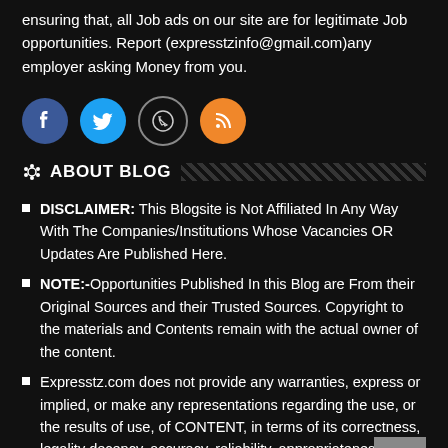ensuring that, all Job ads on our site are for legitimate Job opportunities. Report (expresstzinfo@gmail.com)any employer asking Money from you.
[Figure (infographic): Four social media icon buttons in a row: Facebook (dark blue circle), Twitter (light blue circle), WhatsApp (outline circle with phone icon), RSS (orange circle with feed icon)]
ABOUT BLOG
DISCLAIMER: This Blogsite is Not Affiliated In Any Way With The Companies/Institutions Whose Vacancies OR Updates Are Published Here.
NOTE:-Opportunities Published In this Blog are From their Original Sources and their Trusted Sources. Copyright to the materials and Contents remain with the actual owner of the content.
Expresstz.com does not provide any warranties, express or implied, or make any representations regarding the use, or the results of use, of CONTENT, in terms of its correctness, legality decency, accuracy, reliability, appropriateness or otherwise.
Review and use of CONTENT is subject to all applicable laws...